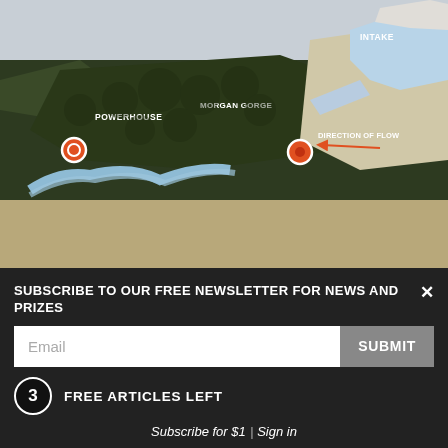[Figure (illustration): 3D aerial/topographic illustration of a hydroelectric system showing a mountain gorge with labeled features: POWERHOUSE (left, orange circle marker), INTAKE (top right), MORGAN GORGE (center), and DIRECTION OF FLOW (right, with arrow), with a river winding through forested terrain.]
CEO Rob Caldwell ushered me in to his office, but
SUBSCRIBE TO OUR FREE NEWSLETTER FOR NEWS AND PRIZES
Email
SUBMIT
3 FREE ARTICLES LEFT
Subscribe for $1 | Sign in